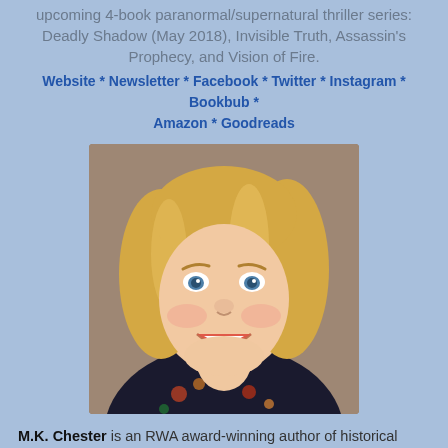upcoming 4-book paranormal/supernatural thriller series: Deadly Shadow (May 2018), Invisible Truth, Assassin's Prophecy, and Vision of Fire.
Website * Newsletter * Facebook * Twitter * Instagram * Bookbub * Amazon * Goodreads
[Figure (photo): Headshot of a smiling middle-aged woman with blonde hair and blue eyes wearing a floral top]
M.K. Chester is an RWA award-winning author of historical